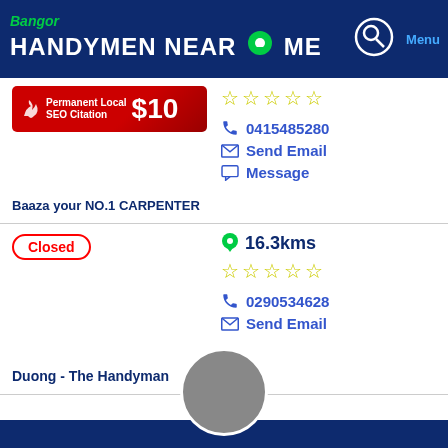Bangor HANDYMEN NEAR ME
[Figure (infographic): Handymen Near Me website listing with two business cards: Baaza your NO.1 CARPENTER and Duong - The Handyman]
Baaza your NO.1 CARPENTER
0415485280
Send Email
Message
Duong - The Handyman
16.3kms
0290534628
Send Email